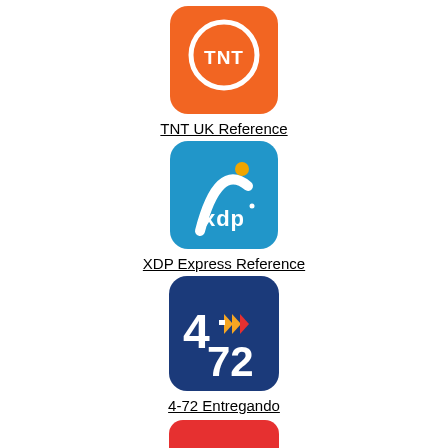[Figure (logo): TNT orange logo with white TNT text in circle on orange rounded-corner square background]
TNT UK Reference
[Figure (logo): XDP Express blue logo with stylized figure and xdp text on blue rounded-corner square background]
XDP Express Reference
[Figure (logo): 4-72 Entregando dark blue logo with 4-72 number and arrow chevrons on dark blue rounded-corner square background]
4-72 Entregando
[Figure (logo): Red rounded-corner square partially visible at bottom of page]